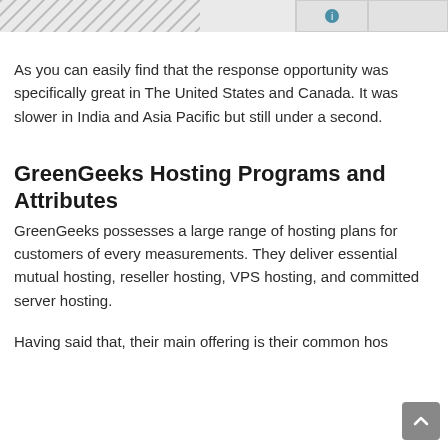[Figure (screenshot): Top navigation bar with icon button and rectangular button visible at top right, gray hatched area on the left]
As you can easily find that the response opportunity was specifically great in The United States and Canada. It was slower in India and Asia Pacific but still under a second.
GreenGeeks Hosting Programs and Attributes
GreenGeeks possesses a large range of hosting plans for customers of every measurements. They deliver essential mutual hosting, reseller hosting, VPS hosting, and committed server hosting.
Having said that, their main offering is their common hos